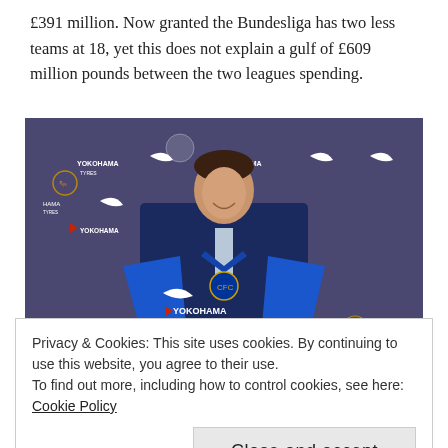£391 million. Now granted the Bundesliga has two less teams at 18, yet this does not explain a gulf of £609 million pounds between the two leagues spending.
[Figure (photo): A man in a dark blue suit holding a Chelsea FC blue jersey with YOKOHAMA TYRES sponsor, posing in front of a Chelsea FC branded backdrop with Nike and YOKOHAMA TYRES logos.]
Privacy & Cookies: This site uses cookies. By continuing to use this website, you agree to their use.
To find out more, including how to control cookies, see here: Cookie Policy
Close and accept
revenue stream for themselves. Bayern Munich are by far the biggest